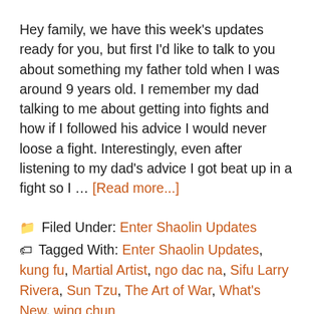Hey family, we have this week's updates ready for you, but first I'd like to talk to you about something my father told when I was around 9 years old. I remember my dad talking to me about getting into fights and how if I followed his advice I would never loose a fight. Interestingly, even after listening to my dad's advice I got beat up in a fight so I … [Read more...]
🗀 Filed Under: Enter Shaolin Updates
🏷 Tagged With: Enter Shaolin Updates, kung fu, Martial Artist, ngo dac na, Sifu Larry Rivera, Sun Tzu, The Art of War, What's New, wing chun